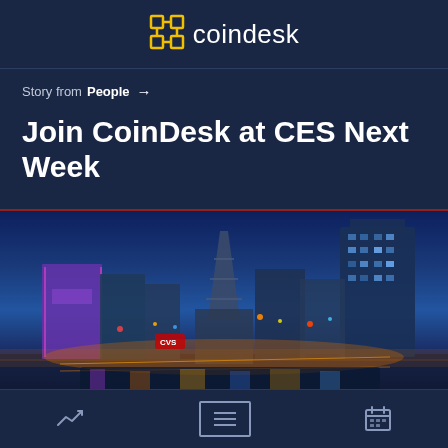coindesk
Story from People →
Join CoinDesk at CES Next Week
[Figure (photo): Aerial night view of the Las Vegas Strip with illuminated casino hotels, the Eiffel Tower replica at Paris Las Vegas, and city lights reflecting on a water feature]
Navigation bar with trend chart icon, article list icon (active), and calendar icon